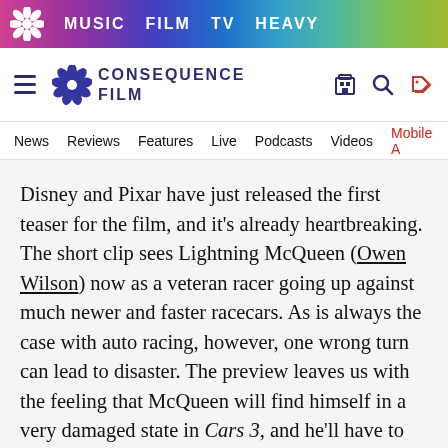MUSIC  FILM  TV  HEAVY
CONSEQUENCE FILM
News  Reviews  Features  Live  Podcasts  Videos  Mobile A
Disney and Pixar have just released the first teaser for the film, and it's already heartbreaking. The short clip sees Lightning McQueen (Owen Wilson) now as a veteran racer going up against much newer and faster racecars. As is always the case with auto racing, however, one wrong turn can lead to disaster. The preview leaves us with the feeling that McQueen will find himself in a very damaged state in Cars 3, and he'll have to rely on friends like Mater (Larry the Cable Guy), Sally (Bonnie Hunt), and Ramone (Cheech Marin) to set him